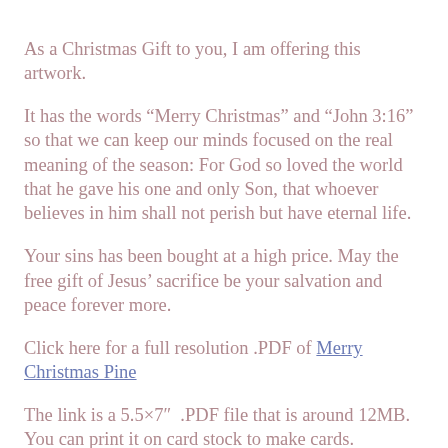As a Christmas Gift to you, I am offering this artwork.
It has the words “Merry Christmas” and “John 3:16” so that we can keep our minds focused on the real meaning of the season: For God so loved the world that he gave his one and only Son, that whoever believes in him shall not perish but have eternal life.
Your sins has been bought at a high price. May the free gift of Jesus’ sacrifice be your salvation and peace forever more.
Click here for a full resolution .PDF of Merry Christmas Pine

The link is a 5.5×7″ .PDF file that is around 12MB. You can print it on card stock to make cards.

If you would like a .JPG file (7MB) so that you can